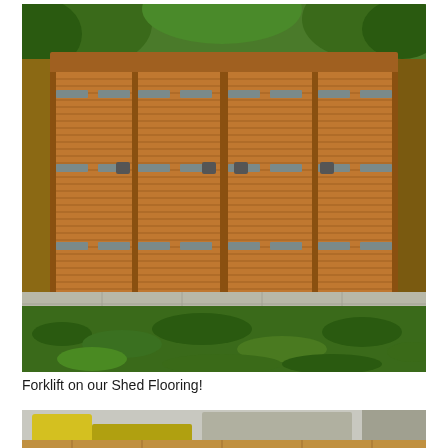[Figure (photo): Outdoor photo of a large wooden garden shed with four double doors, metal hinges and handles, set against a background of green foliage and trees. In front of the shed is a concrete patio, and in the foreground is a neatly laid rectangle of dark green grass/lawn.]
Forklift on our Shed Flooring!
[Figure (photo): Partial photo at bottom of page showing yellow forklift machinery and wooden flooring materials.]